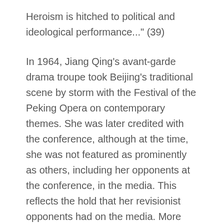Heroism is hitched to political and ideological performance..." (39)
In 1964, Jiang Qing's avant-garde drama troupe took Beijing's traditional scene by storm with the Festival of the Peking Opera on contemporary themes. She was later credited with the conference, although at the time, she was not featured as prominently as others, including her opponents at the conference, in the media. This reflects the hold that her revisionist opponents had on the media. More than 50 discussions were held over a five week period of the convention. Various resolutions promoting innovation were passed. Versions of four of